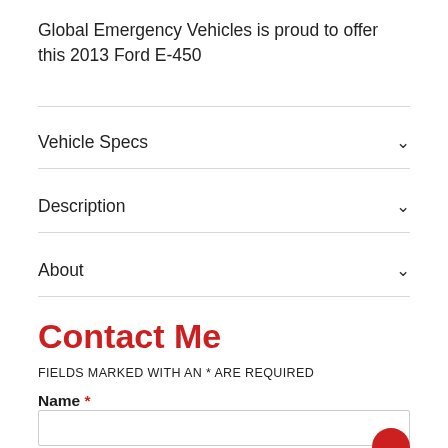Global Emergency Vehicles is proud to offer this 2013 Ford E-450
Vehicle Specs
Description
About
Contact Me
FIELDS MARKED WITH AN * ARE REQUIRED
Name *